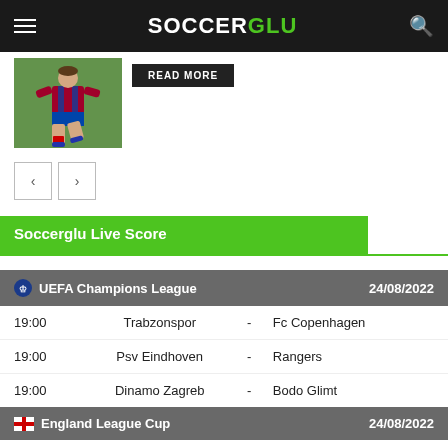SOCCERGLU
[Figure (photo): Soccer player in red and blue FC Barcelona kit dribbling on a green field]
READ MORE
| UEFA Champions League | 24/08/2022 |
| --- | --- |
| 19:00 | Trabzonspor | - | Fc Copenhagen |
| 19:00 | Psv Eindhoven | - | Rangers |
| 19:00 | Dinamo Zagreb | - | Bodo Glimt |
| England League Cup | 24/08/2022 |
| --- | --- |
| 18:45 | Wycombe | - | Bristol City |
| 18:45 | Forest Green | - | Brighton |